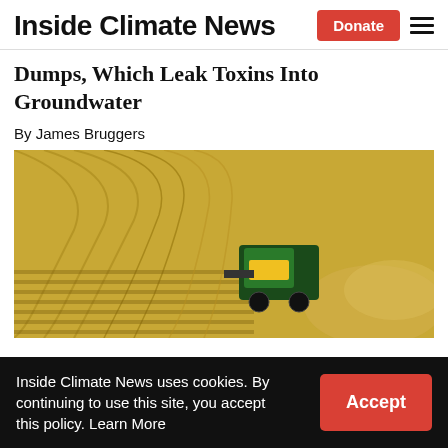Inside Climate News
Dumps, Which Leak Toxins Into Groundwater
By James Bruggers
[Figure (photo): Aerial view of a combine harvester working through a golden grain field, photographed from above.]
Inside Climate News uses cookies. By continuing to use this site, you accept this policy. Learn More